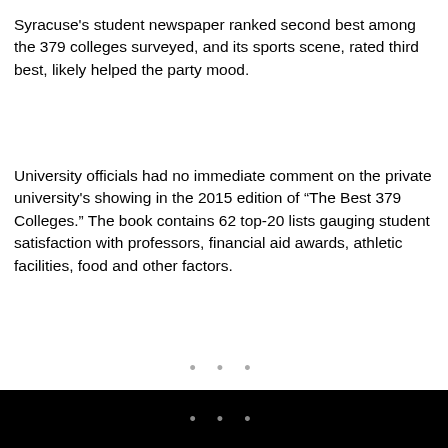Syracuse's student newspaper ranked second best among the 379 colleges surveyed, and its sports scene, rated third best, likely helped the party mood.
University officials had no immediate comment on the private university's showing in the 2015 edition of “The Best 379 Colleges.” The book contains 62 top-20 lists gauging student satisfaction with professors, financial aid awards, athletic facilities, food and other factors.